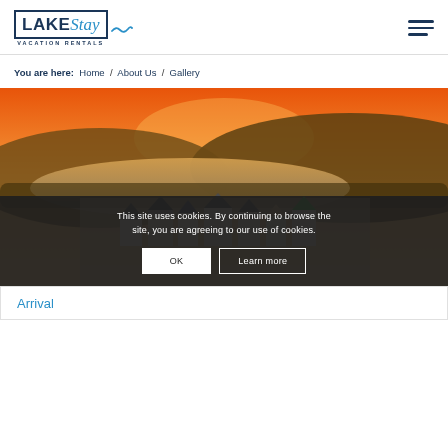[Figure (logo): LakeStay Vacation Rentals logo with dark blue border, blue italic 'Stay' text, and wave underline]
You are here:  Home  /  About Us  /  Gallery
[Figure (photo): Aerial view of a lakeside residential community at sunset with colorful sky, lake in background and forested hills]
This site uses cookies. By continuing to browse the site, you are agreeing to our use of cookies.
OK
Learn more
Arrival